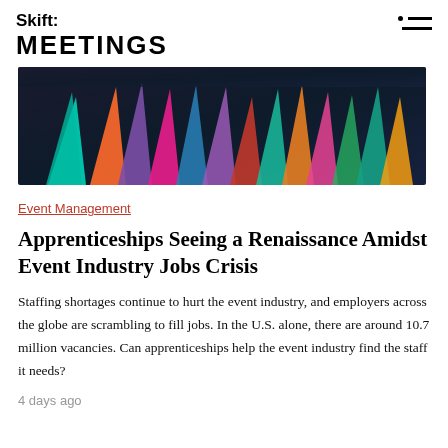Skift MEETINGS
[Figure (photo): Colorful cone-shaped marker tips or similar objects arranged together, photographed in vibrant colors including teal, orange, pink, purple, and red against a dark background]
Event Management
Apprenticeships Seeing a Renaissance Amidst Event Industry Jobs Crisis
Staffing shortages continue to hurt the event industry, and employers across the globe are scrambling to fill jobs. In the U.S. alone, there are around 10.7 million vacancies. Can apprenticeships help the event industry find the staff it needs?
4 days ago